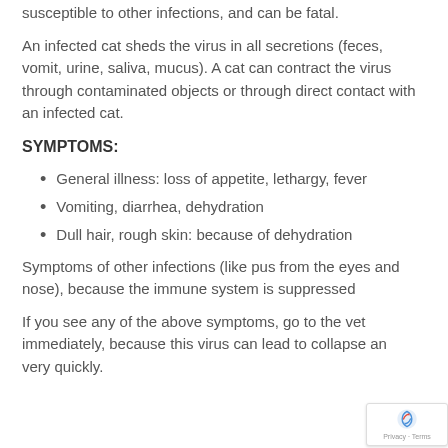susceptible to other infections, and can be fatal.
An infected cat sheds the virus in all secretions (feces, vomit, urine, saliva, mucus). A cat can contract the virus through contaminated objects or through direct contact with an infected cat.
SYMPTOMS:
General illness: loss of appetite, lethargy, fever
Vomiting, diarrhea, dehydration
Dull hair, rough skin: because of dehydration
Symptoms of other infections (like pus from the eyes and nose), because the immune system is suppressed
If you see any of the above symptoms, go to the vet immediately, because this virus can lead to collapse and very quickly.